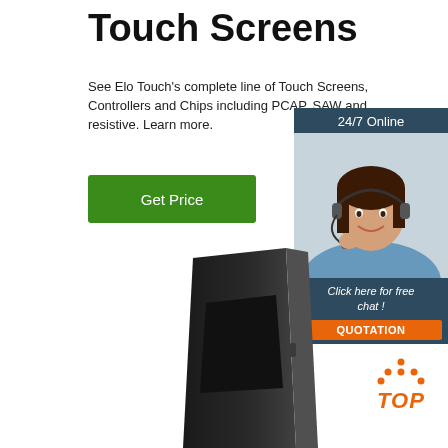Touch Screens
See Elo Touch's complete line of Touch Screens, Controllers and Chips including PCAP, SAW and resistive. Learn more.
Get Price
[Figure (infographic): Online chat support widget with '24/7 Online' header, photo of a smiling woman with a headset, 'Click here for free chat!' text, and an orange 'QUOTATION' button]
[Figure (photo): Black rectangular touch screen kiosk device shown at an angle]
[Figure (logo): Orange 'TOP' logo with orange dots arranged in a triangle above the text]